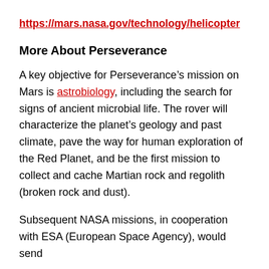https://mars.nasa.gov/technology/helicopter
More About Perseverance
A key objective for Perseverance’s mission on Mars is astrobiology, including the search for signs of ancient microbial life. The rover will characterize the planet’s geology and past climate, pave the way for human exploration of the Red Planet, and be the first mission to collect and cache Martian rock and regolith (broken rock and dust).
Subsequent NASA missions, in cooperation with ESA (European Space Agency), would send